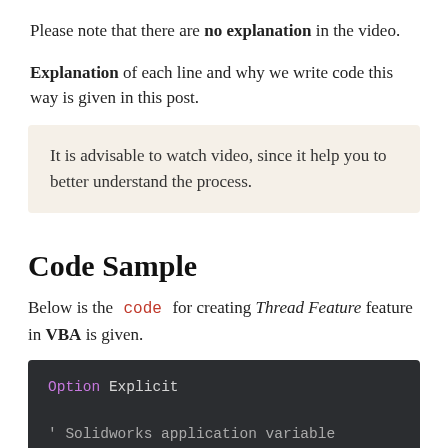Please note that there are no explanation in the video.
Explanation of each line and why we write code this way is given in this post.
It is advisable to watch video, since it help you to better understand the process.
Code Sample
Below is the code for creating Thread Feature feature in VBA is given.
Option Explicit

' Solidworks application variable